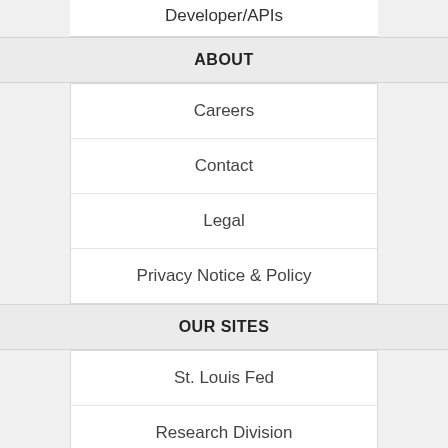Developer/APIs
ABOUT
Careers
Contact
Legal
Privacy Notice & Policy
OUR SITES
St. Louis Fed
Research Division
Education Resources
NEED HELP?
Questions or Comments
FRED Help